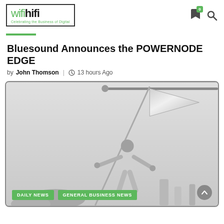wifihifi - Celebrating the Business of Digital
Bluesound Announces the POWERNODE EDGE
by John Thomson | 13 hours Ago
[Figure (photo): Black and white photo of a person raising a flag on a pole, arms outstretched, with tags 'DAILY NEWS' and 'GENERAL BUSINESS NEWS' overlaid at the bottom left.]